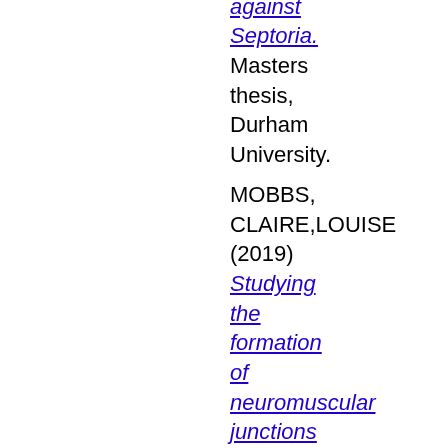defence against Septoria. Masters thesis, Durham University.
MOBBS, CLAIRE,LOUISE (2019) Studying the formation of neuromuscular junctions in vitro. Masters thesis, Durham